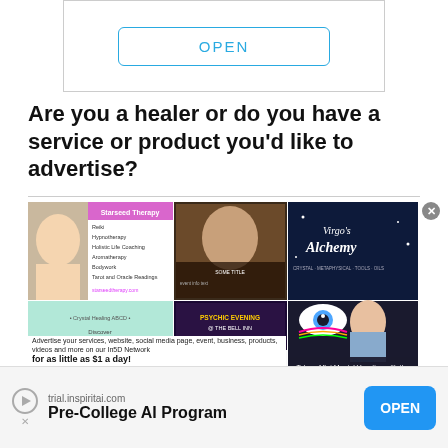[Figure (screenshot): Ad banner with OPEN button in blue outline style]
Are you a healer or do you have a service or product you'd like to advertise?
[Figure (infographic): Collage of healer/spiritual service ads including Starseed Therapy, Virgo's Alchemy, Psychic Evening at The Bell Inn, and a meditation/archangels promotion. Text reads: Advertise your services, website, social media page, event, business, products, videos and more on our In5D Network for as little as $1 a day! VISIT in5d.us FOR MORE INFO In5D Vendor Marketplace]
[Figure (screenshot): Bottom ad bar: trial.inspiritai.com — Pre-College AI Program — OPEN button]